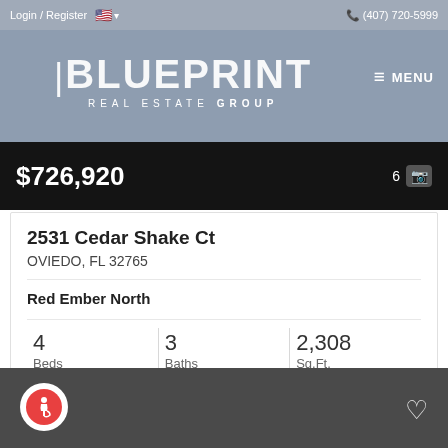Login / Register  🇺🇸 ▾  (407) 720-5999
[Figure (logo): Blueprint Real Estate Group logo — stylized blueprint text with white lettering on gray-blue background, menu button top right]
$726,920  6 📷
2531 Cedar Shake Ct
OVIEDO, FL 32765
Red Ember North
| Beds | Baths | Sq.Ft. |
| --- | --- | --- |
| 4 | 3 | 2,308 |
Keller Williams Advantage Realty
[Figure (other): Dark gray panel at bottom with accessibility icon (red circle, white wheelchair symbol) on left and white heart outline icon on right]